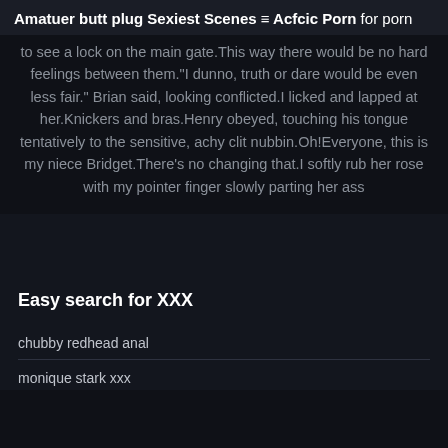Amatuer butt plug Sexiest Scenes – Acfcic Porn for porn
to see a lock on the main gate.This way there would be no hard feelings between them.“I dunno, truth or dare would be even less fair.” Brian said, looking conflicted.I licked and lapped at her.Knickers and bras.Henry obeyed, touching his tongue tentatively to the sensitive, achy clit nubbin.Oh!Everyone, this is my niece Bridget.There’s no changing that.I softly rub her rose with my pointer finger slowly parting her ass
Easy search for XXX
chubby redhead anal
monique stark xxx